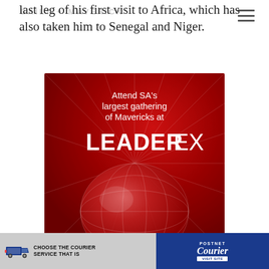DAILY MAVERICK
last leg of his first visit to Africa, which has also taken him to Senegal and Niger.
[Figure (illustration): Red advertisement banner for LeaderEx event. White text reads 'Attend SA's largest gathering of Mavericks at LEADEREX'. A stylized globe with light rays is shown in the lower portion of the banner.]
[Figure (illustration): PostNet Courier advertisement banner. Left side shows a delivery truck with text 'CHOOSE THE COURIER SERVICE THAT IS'. Right side on blue background shows 'PostNet Courier' branding with 'VISIT SITE' button.]